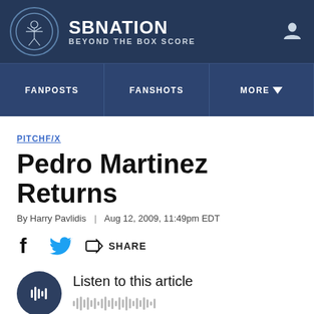SB NATION | BEYOND THE BOX SCORE
FANPOSTS | FANSHOTS | MORE
PITCHF/X
Pedro Martinez Returns
By Harry Pavlidis | Aug 12, 2009, 11:49pm EDT
SHARE
Listen to this article